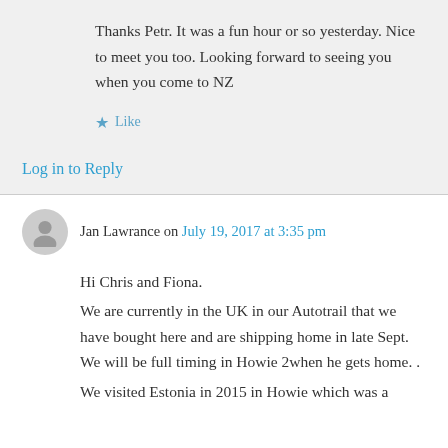Thanks Petr. It was a fun hour or so yesterday. Nice to meet you too. Looking forward to seeing you when you come to NZ
★ Like
Log in to Reply
Jan Lawrance on July 19, 2017 at 3:35 pm
Hi Chris and Fiona.
We are currently in the UK in our Autotrail that we have bought here and are shipping home in late Sept. We will be full timing in Howie 2when he gets home. .
We visited Estonia in 2015 in Howie which was a